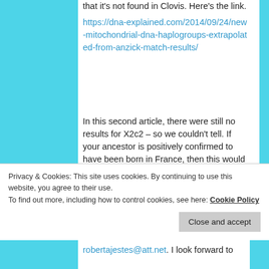that it's not found in Clovis. Here's the link. https://dna-explained.com/2014/09/24/new-mitochondrial-dna-haplogroups-extrapolated-from-anzick-match-results/
In this second article, there were still no results for X2c2 – so we couldn't tell. If your ancestor is positively confirmed to have been born in France, then this would remove speculation, especially if there are other people she matches who are confirmed for their ancestor to have been born overseas as well.
Privacy & Cookies: This site uses cookies. By continuing to use this website, you agree to their use. To find out more, including how to control cookies, see here: Cookie Policy
Close and accept
robertajestes@att.net. I look forward to